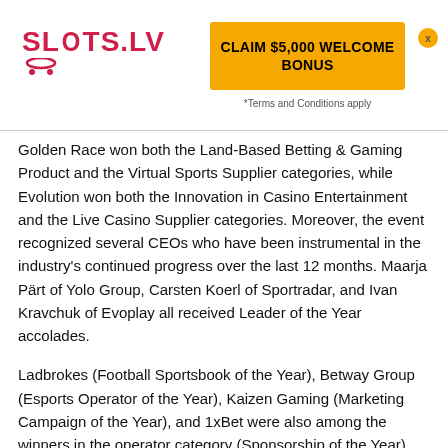[Figure (logo): Slots.LV logo in red/pink color with stylized face icon below text]
[Figure (infographic): Yellow/orange button with text CLAIM $5,000 WELCOME BONUS and Terms and Conditions apply below]
Golden Race won both the Land-Based Betting & Gaming Product and the Virtual Sports Supplier categories, while Evolution won both the Innovation in Casino Entertainment and the Live Casino Supplier categories. Moreover, the event recognized several CEOs who have been instrumental in the industry's continued progress over the last 12 months. Maarja Pärt of Yolo Group, Carsten Koerl of Sportradar, and Ivan Kravchuk of Evoplay all received Leader of the Year accolades.
Ladbrokes (Football Sportsbook of the Year), Betway Group (Esports Operator of the Year), Kaizen Gaming (Marketing Campaign of the Year), and 1xBet were also among the winners in the operator category (Sponsorship of the Year). Mr Green was named the Most Socially Responsible Casino of the Year, Karamba was named the Most Innovative Casino & Gaming Entertainment, and Hero Gaming was named the Best Employer of the Year.